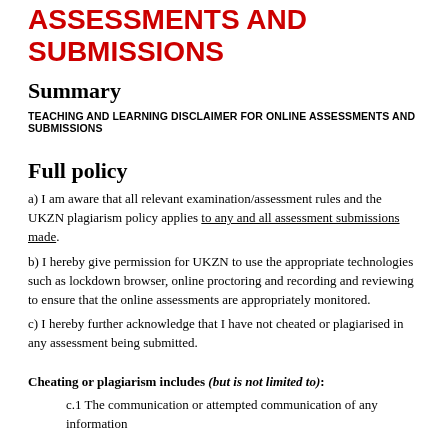ASSESSMENTS AND SUBMISSIONS
Summary
TEACHING AND LEARNING DISCLAIMER FOR ONLINE ASSESSMENTS AND SUBMISSIONS
Full policy
a) I am aware that all relevant examination/assessment rules and the UKZN plagiarism policy applies to any and all assessment submissions made.
b) I hereby give permission for UKZN to use the appropriate technologies such as lockdown browser, online proctoring and recording and reviewing to ensure that the online assessments are appropriately monitored.
c) I hereby further acknowledge that I have not cheated or plagiarised in any assessment being submitted.
Cheating or plagiarism includes (but is not limited to):
c.1 The communication or attempted communication of any information